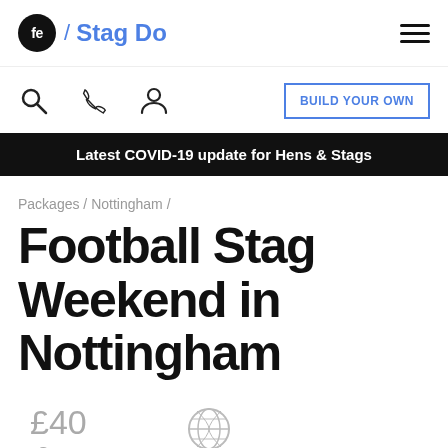fe / Stag Do
Latest COVID-19 update for Hens & Stags
Packages / Nottingham /
Football Stag Weekend in Nottingham
£40 Group Deposit
ABTA Approved